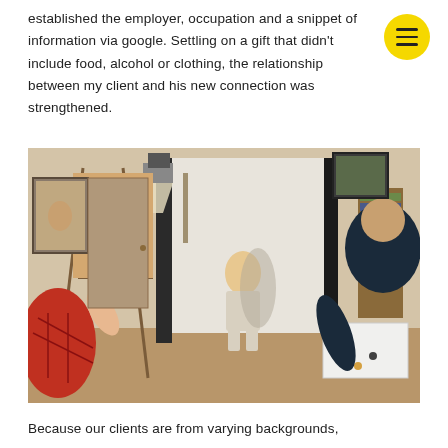established the employer, occupation and a snippet of information via google. Settling on a gift that didn't include food, alcohol or clothing, the relationship between my client and his new connection was strengthened.
[Figure (photo): An artist's studio scene showing two people painting a portrait. A child sits on a stool against a white backdrop with studio lighting. On the left, a person in a red plaid shirt works on a portrait painting on an easel. On the right, a man in a dark t-shirt holds a palette and views the subject. Various artworks and art supplies are visible in the background.]
Because our clients are from varying backgrounds,